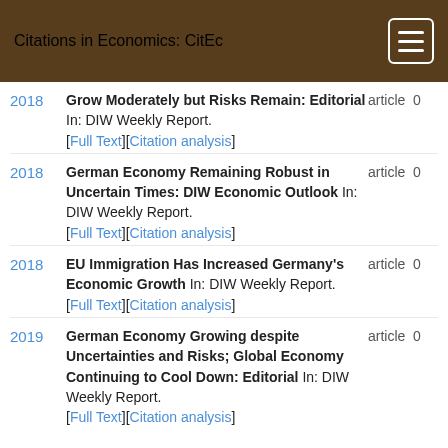Citations in Economics: CitEc
2018 — Grow Moderately but Risks Remain: Editorial In: DIW Weekly Report. article 0 [Full Text][Citation analysis]
2018 — German Economy Remaining Robust in Uncertain Times: DIW Economic Outlook In: DIW Weekly Report. article 0 [Full Text][Citation analysis]
2018 — EU Immigration Has Increased Germany's Economic Growth In: DIW Weekly Report. article 0 [Full Text][Citation analysis]
2019 — German Economy Growing despite Uncertainties and Risks; Global Economy Continuing to Cool Down: Editorial In: DIW Weekly Report. article 0 [Full Text][Citation analysis]